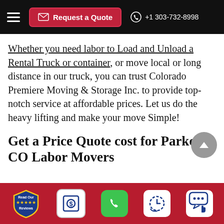Request a Quote | +1 303-732-8998
Whether you need labor to Load and Unload a Rental Truck or container, or move local or long distance in our truck, you can trust Colorado Premiere Moving & Storage Inc. to provide top-notch service at affordable prices. Let us do the heavy lifting and make your move Simple!
Get a Price Quote cost for Parker, CO Labor Movers
[Figure (infographic): Bottom navigation bar with five icons: Read Our Reviews badge, dollar sign quote icon, green phone icon, clock/schedule icon, and chat/message icon]